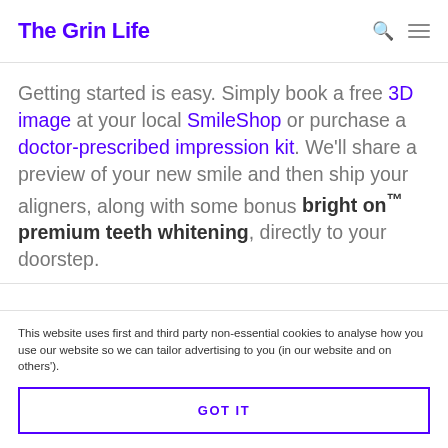The Grin Life
Getting started is easy. Simply book a free 3D image at your local SmileShop or purchase a doctor-prescribed impression kit. We’ll share a preview of your new smile and then ship your aligners, along with some bonus bright on™ premium teeth whitening, directly to your doorstep.
This website uses first and third party non-essential cookies to analyse how you use our website so we can tailor advertising to you (in our website and on others’).
GOT IT